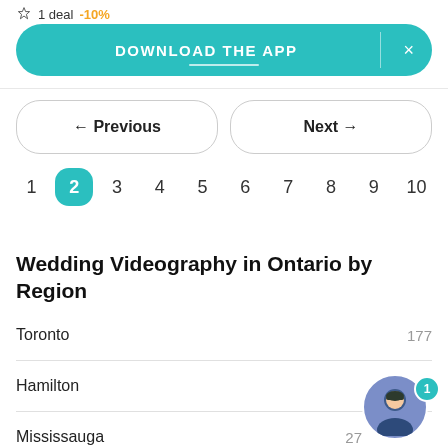[Figure (screenshot): Teal Download the App banner with X close button]
← Previous
Next →
1  2  3  4  5  6  7  8  9  10 (pagination, page 2 active)
Wedding Videography in Ontario by Region
Toronto  177
Hamilton
Mississauga  27